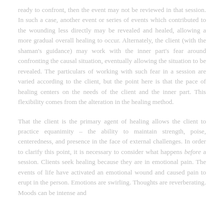ready to confront, then the event may not be reviewed in that session. In such a case, another event or series of events which contributed to the wounding less directly may be revealed and healed, allowing a more gradual overall healing to occur. Alternately, the client (with the shaman's guidance) may work with the inner part's fear around confronting the causal situation, eventually allowing the situation to be revealed. The particulars of working with such fear in a session are varied according to the client, but the point here is that the pace of healing centers on the needs of the client and the inner part. This flexibility comes from the alteration in the healing method.
That the client is the primary agent of healing allows the client to practice equanimity – the ability to maintain strength, poise, centeredness, and presence in the face of external challenges. In order to clarify this point, it is necessary to consider what happens before a session. Clients seek healing because they are in emotional pain. The events of life have activated an emotional wound and caused pain to erupt in the person. Emotions are swirling. Thoughts are reverberating. Moods can be intense and